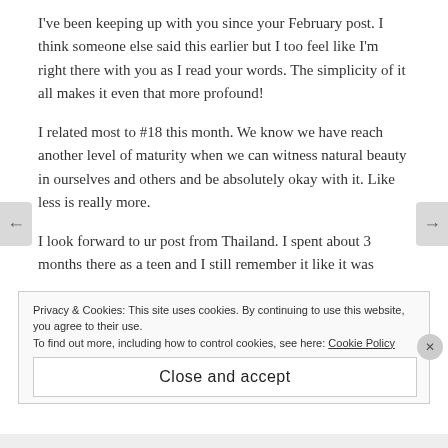I've been keeping up with you since your February post. I think someone else said this earlier but I too feel like I'm right there with you as I read your words. The simplicity of it all makes it even that more profound!
I related most to #18 this month. We know we have reach another level of maturity when we can witness natural beauty in ourselves and others and be absolutely okay with it. Like less is really more.
I look forward to ur post from Thailand. I spent about 3 months there as a teen and I still remember it like it was
Privacy & Cookies: This site uses cookies. By continuing to use this website, you agree to their use.
To find out more, including how to control cookies, see here: Cookie Policy
Close and accept